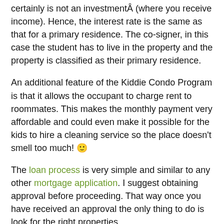certainly is not an investmentÂ (where you receive income). Hence, the interest rate is the same as that for a primary residence. The co-signer, in this case the student has to live in the property and the property is classified as their primary residence.
An additional feature of the Kiddie Condo Program is that it allows the occupant to charge rent to roommates. This makes the monthly payment very affordable and could even make it possible for the kids to hire a cleaning service so the place doesn’t smell too much! 😊
The loan process is very simple and similar to any other mortgage application. I suggest obtaining approval before proceeding. That way once you have received an approval the only thing to do is look for the right properties.